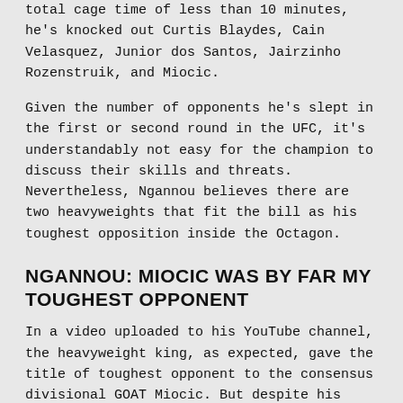total cage time of less than 10 minutes, he's knocked out Curtis Blaydes, Cain Velasquez, Junior dos Santos, Jairzinho Rozenstruik, and Miocic.
Given the number of opponents he's slept in the first or second round in the UFC, it's understandably not easy for the champion to discuss their skills and threats. Nevertheless, Ngannou believes there are two heavyweights that fit the bill as his toughest opposition inside the Octagon.
NGANNOU: MIOCIC WAS BY FAR MY TOUGHEST OPPONENT
In a video uploaded to his YouTube channel, the heavyweight king, as expected, gave the title of toughest opponent to the consensus divisional GOAT Miocic. But despite his only other defeat in the